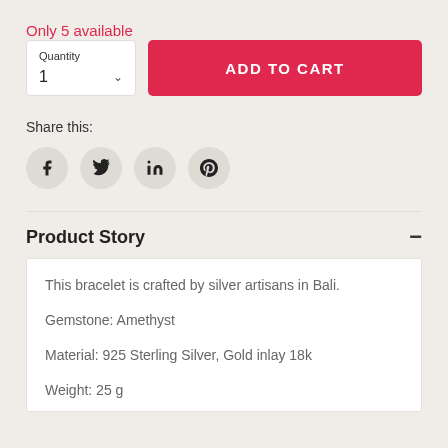Only 5 available
Quantity
1
ADD TO CART
Share this:
[Figure (illustration): Social media sharing icons: Facebook, Twitter, LinkedIn, Pinterest in grey circles]
Product Story
This bracelet is crafted by silver artisans in Bali.

Gemstone: Amethyst

Material: 925 Sterling Silver, Gold inlay 18k

Weight: 25 g